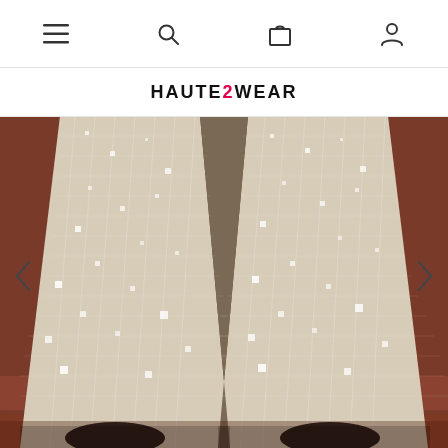Navigation bar with menu, search, cart, and account icons
HAUTE2WEAR
[Figure (photo): Close-up photo of a person wearing wide-leg flared sequin pants in a champagne/ivory color. The pants have a grid-like sequin pattern with vertical ribbing. The person is wearing black heels and standing on a brick/terracotta tile floor. Left and right navigation arrows are visible on the sides of the image.]